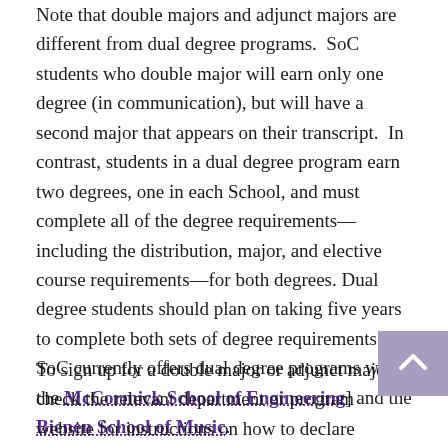Note that double majors and adjunct majors are different from dual degree programs. SoC students who double major will earn only one degree (in communication), but will have a second major that appears on their transcript. In contrast, students in a dual degree program earn two degrees, one in each School, and must complete all of the degree requirements—including the distribution, major, and elective course requirements—for both degrees. Dual degree students should plan on taking five years to complete both sets of degree requirements. SoC currently offers dual degree programs with the McCormick School of Engineering] and the Bienen School of Music.
To sign up for a double major or adjunct major, check the relevant department or program website for instructions on how to declare...